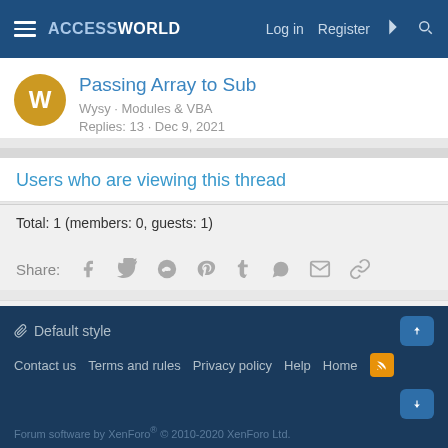ACCESSWORLD — Log in  Register
Passing Array to Sub
Wysy · Modules & VBA
Replies: 13 · Dec 9, 2021
Users who are viewing this thread
Total: 1 (members: 0, guests: 1)
Share:
< Modules & VBA
Default style  Contact us  Terms and rules  Privacy policy  Help  Home  Forum software by XenForo® © 2010-2020 XenForo Ltd.